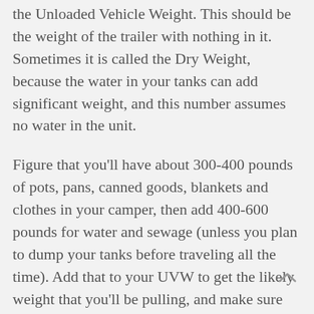the Unloaded Vehicle Weight. This should be the weight of the trailer with nothing in it. Sometimes it is called the Dry Weight, because the water in your tanks can add significant weight, and this number assumes no water in the unit.
Figure that you'll have about 300-400 pounds of pots, pans, canned goods, blankets and clothes in your camper, then add 400-600 pounds for water and sewage (unless you plan to dump your tanks before traveling all the time). Add that to your UVW to get the likely weight that you'll be pulling, and make sure that your total is below the towing capacity of your vehicle.
You also need to recognize that there's a